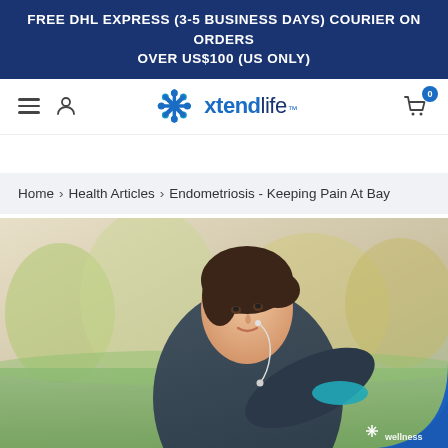FREE DHL EXPRESS (3-5 BUSINESS DAYS) COURIER ON ORDERS OVER US$100 (US ONLY)
[Figure (logo): Xtendlife logo with snowflake/asterisk icon in blue and teal, text 'xtendlife' in blue]
Home › Health Articles › Endometriosis - Keeping Pain At Bay
[Figure (photo): Young woman with earbuds stretching outdoors before a run, wearing a dark blue jacket and teal top, with blurred green field and trees in background. Partially visible wellness badge in bottom right corner.]